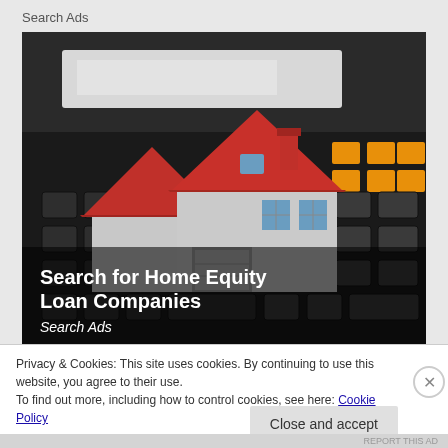Search Ads
[Figure (photo): A miniature model house with red roof sitting on a calculator keyboard, used as an advertisement image for home equity loan companies. Overlaid text reads 'Search for Home Equity Loan Companies' and 'Search Ads'.]
Privacy & Cookies: This site uses cookies. By continuing to use this website, you agree to their use.
To find out more, including how to control cookies, see here: Cookie Policy
Close and accept